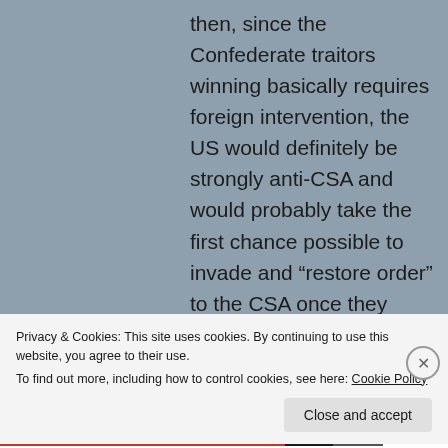then, since the Confederate traitors winning basically requires foreign intervention, the US would definitely be strongly anti-CSA and would probably take the first chance possible to invade and “restore order” to the CSA once they rebuilt their
Privacy & Cookies: This site uses cookies. By continuing to use this website, you agree to their use.
To find out more, including how to control cookies, see here: Cookie Policy
Close and accept